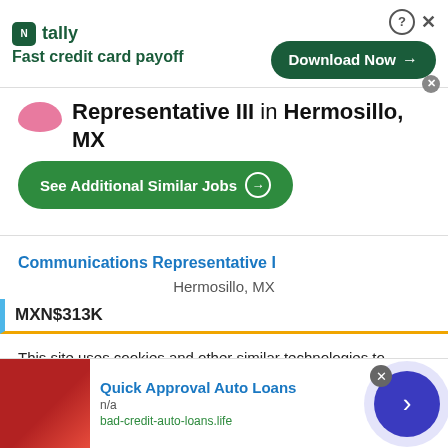[Figure (screenshot): Tally app advertisement banner: green Tally logo with 'Fast credit card payoff' text on left, green 'Download Now →' button on right, help icon and close X in top right, small close circle bottom right of button]
Representative III in Hermosillo, MX
See Additional Similar Jobs →
Communications Representative I
Hermosillo, MX
MXN$313K
This site uses cookies and other similar technologies to provide site functionality, analyze traffic and usage, and
[Figure (screenshot): Bottom advertisement: Quick Approval Auto Loans with red car image on left, blue title text, 'n/a' subtitle, 'bad-credit-auto-loans.life' URL in green, close X button, dark blue circular forward arrow button on right]